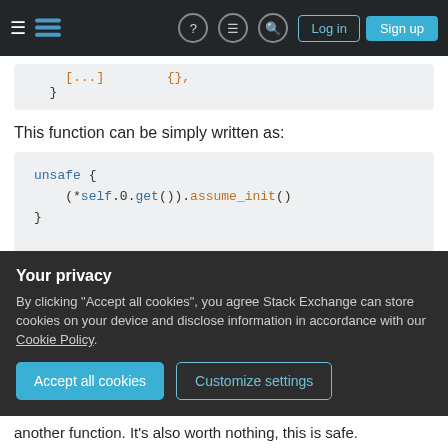Stack Exchange navigation bar with Log in and Sign up buttons
[Figure (screenshot): Cropped code block showing closing brace of a previous code snippet]
This function can be simply written as:
[Figure (screenshot): Code block showing: unsafe { (*self.0.get()).assume_init() } followed by comments: /// This is supposed toonly be called o /// **NOTE**: Very unsafe thing to do. // This is safe because StaticQueueVtec]
Your privacy
By clicking "Accept all cookies", you agree Stack Exchange can store cookies on your device and disclose information in accordance with our Cookie Policy.
another function. It's also worth nothing, this is safe.